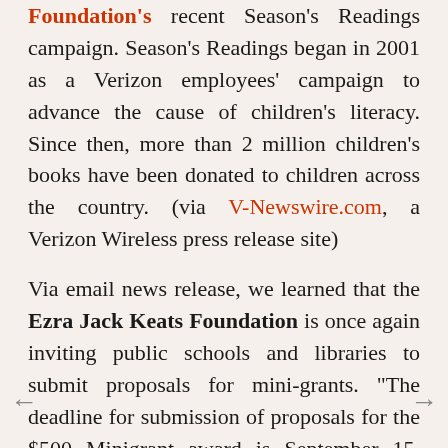Foundation's recent Season's Readings campaign. Season's Readings began in 2001 as a Verizon employees' campaign to advance the cause of children's literacy. Since then, more than 2 million children's books have been donated to children across the country. (via V-Newswire.com, a Verizon Wireless press release site)
Via email news release, we learned that the Ezra Jack Keats Foundation is once again inviting public schools and libraries to submit proposals for mini-grants. "The deadline for submission of proposals for the $500 Minigrant award is September 15, 2010. Proposals are read directly after the September deadline and announcements will be mailed out in mid November. Applications are available exclusively online at the